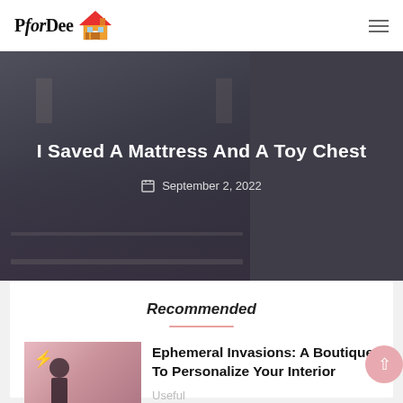PforDee
[Figure (photo): Hero banner showing a bunk bed / children's bed with a toy chest, dark overlay, article title and date overlay. Title: 'I Saved A Mattress And A Toy Chest', Date: September 2, 2022]
I Saved A Mattress And A Toy Chest
September 2, 2022
Recommended
[Figure (photo): Thumbnail image for article about Ephemeral Invasions boutique — pink background with clothing rack and garments]
Ephemeral Invasions: A Boutique To Personalize Your Interior
Useful